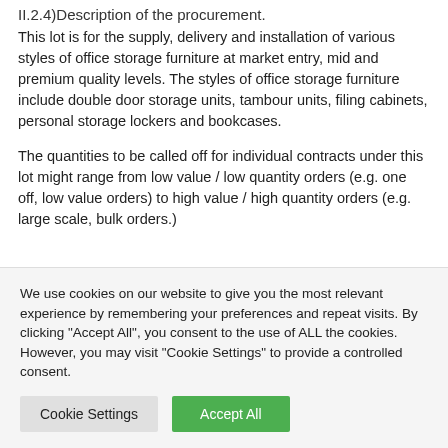II.2.4)Description of the procurement.
This lot is for the supply, delivery and installation of various styles of office storage furniture at market entry, mid and premium quality levels. The styles of office storage furniture include double door storage units, tambour units, filing cabinets, personal storage lockers and bookcases.
The quantities to be called off for individual contracts under this lot might range from low value / low quantity orders (e.g. one off, low value orders) to high value / high quantity orders (e.g. large scale, bulk orders.)
We use cookies on our website to give you the most relevant experience by remembering your preferences and repeat visits. By clicking "Accept All", you consent to the use of ALL the cookies. However, you may visit "Cookie Settings" to provide a controlled consent.